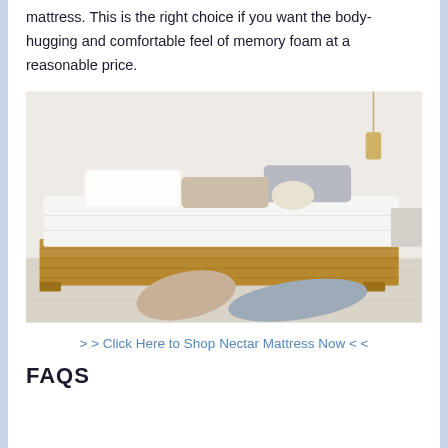mattress. This is the right choice if you want the body-hugging and comfortable feel of memory foam at a reasonable price.
[Figure (photo): A minimalist bedroom with a low wooden platform bed dressed in white linen, multiple pillows in white, beige, and gray tones, two pillows resting on the floor in front of the bed, and a hanging brass pendant light in the background.]
> > Click Here to Shop Nectar Mattress Now < <
FAQS